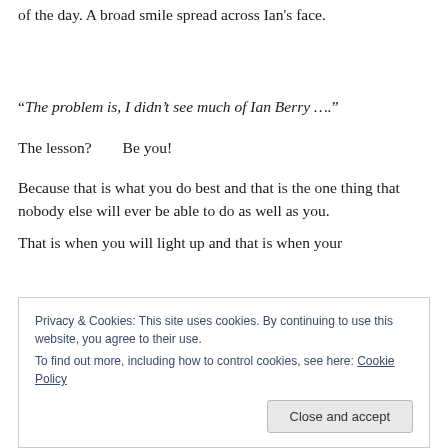of the day. A broad smile spread across Ian's face.
“The problem is, I didn’t see much of Ian Berry ….”
The lesson?        Be you!
Because that is what you do best and that is the one thing that nobody else will ever be able to do as well as you.
That is when you will light up and that is when your
Privacy & Cookies: This site uses cookies. By continuing to use this website, you agree to their use.
To find out more, including how to control cookies, see here: Cookie Policy
Close and accept